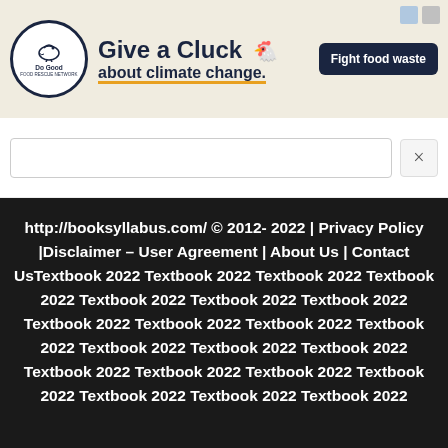[Figure (screenshot): Advertisement banner: 'Do Good' circular logo on left, bold text 'Give a Cluck about climate change.' in center, orange underline accent, chicken illustration, dark navy 'Fight food waste' button on right, on beige background]
[Figure (screenshot): Search bar area with empty search input box and close (×) button on white background]
http://booksyllabus.com/ © 2012- 2022 | Privacy Policy |Disclaimer – User Agreement | About Us | Contact UsTextbook 2022 Textbook 2022 Textbook 2022 Textbook 2022 Textbook 2022 Textbook 2022 Textbook 2022 Textbook 2022 Textbook 2022 Textbook 2022 Textbook 2022 Textbook 2022 Textbook 2022 Textbook 2022 Textbook 2022 Textbook 2022 Textbook 2022 Textbook 2022 Textbook 2022 Textbook 2022 Textbook 2022